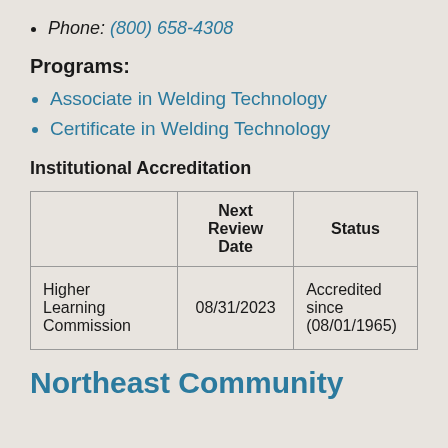Phone: (800) 658-4308
Programs:
Associate in Welding Technology
Certificate in Welding Technology
Institutional Accreditation
|  | Next Review Date | Status |
| --- | --- | --- |
| Higher Learning Commission | 08/31/2023 | Accredited since (08/01/1965) |
Northeast Community